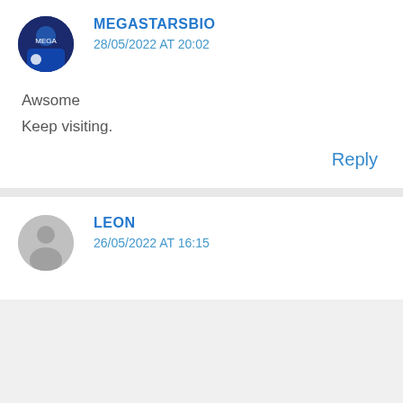MEGASTARSBIO
28/05/2022 AT 20:02
Awsome
Keep visiting.
Reply
LEON
26/05/2022 AT 16:15